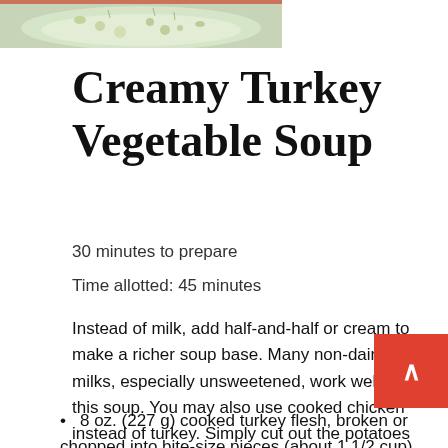[Figure (photo): Photo of creamy turkey vegetable soup in a bowl, viewed from above, showing broth with vegetables and herbs]
Creamy Turkey Vegetable Soup
30 minutes to prepare
Time allotted: 45 minutes
Instead of milk, add half-and-half or cream to make a richer soup base. Many non-dairy milks, especially unsweetened, work well in this soup. You may also use cooked chicken instead of turkey. Simply cut out the potatoes if you want to make this a very low-carb or KETO soup. For a low-carb variation, add spinach, kale, or celery.
8 oz. (227 g) cooked turkey flesh, broken or chopped into bite-size pieces (about 1 1/2 cup)